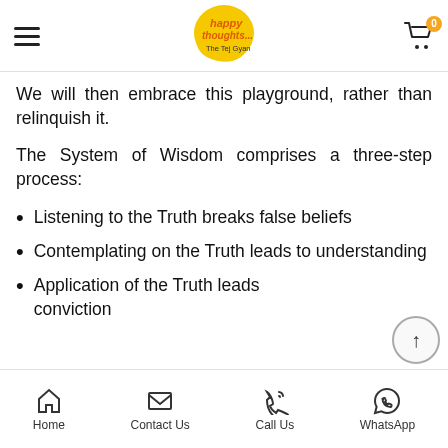happy thoughts... The Tej Gyan — navigation header with hamburger menu and cart
We will then embrace this playground, rather than relinquish it.
The System of Wisdom comprises a three-step process:
Listening to the Truth breaks false beliefs
Contemplating on the Truth leads to understanding
Application of the Truth leads conviction
Home | Contact Us | Call Us | WhatsApp